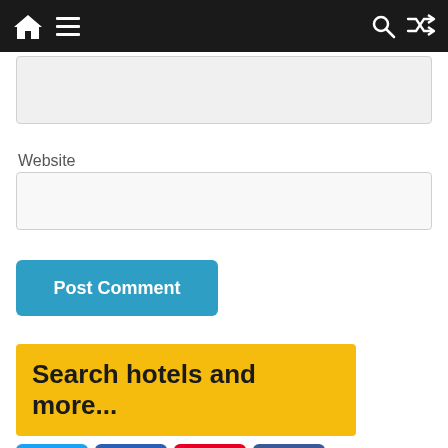[Figure (screenshot): Dark navigation bar with home icon, hamburger menu, search icon, and shuffle icon on white/dark background]
[Figure (screenshot): Partially visible light gray input/text area box near top]
Website
[Figure (screenshot): Website input field — light gray rectangle]
[Figure (screenshot): Blue 'Post Comment' button]
[Figure (screenshot): Yellow 'Search hotels and more...' button/banner]
[Figure (screenshot): Social sharing bar with Twitter, LinkedIn, Pinterest, Facebook icons and 0 SHARES count]